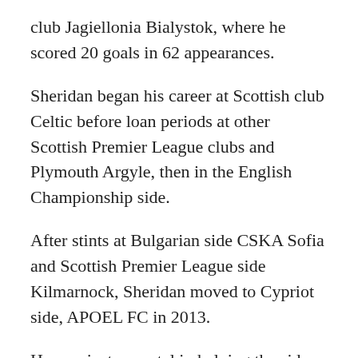club Jagiellonia Bialystok, where he scored 20 goals in 62 appearances.
Sheridan began his career at Scottish club Celtic before loan periods at other Scottish Premier League clubs and Plymouth Argyle, then in the English Championship side.
After stints at Bulgarian side CSKA Sofia and Scottish Premier League side Kilmarnock, Sheridan moved to Cypriot side, APOEL FC in 2013.
He was instrumental in helping the side achieve a historical domestic treble in winning all three Cypriot Competition trophies.
The following season he was again key to APOEL's success, scoring to help the team gain entry into the UEFA Champions' League Group stage going onto play against Barcelona, Paris Saint-Germain